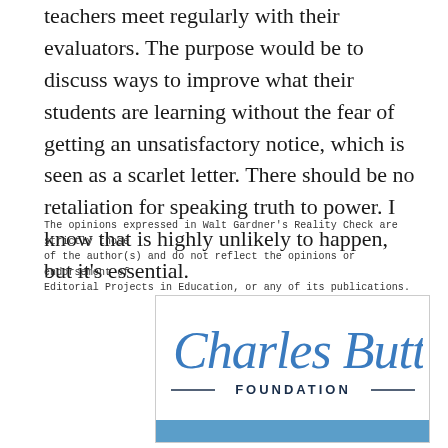teachers meet regularly with their evaluators. The purpose would be to discuss ways to improve what their students are learning without the fear of getting an unsatisfactory notice, which is seen as a scarlet letter. There should be no retaliation for speaking truth to power. I know that is highly unlikely to happen, but it's essential.
The opinions expressed in Walt Gardner's Reality Check are strictly those of the author(s) and do not reflect the opinions or endorsement of Editorial Projects in Education, or any of its publications.
[Figure (logo): Charles Butt Foundation logo — cursive 'Charles Butt' signature in blue above 'FOUNDATION' in dark navy with decorative dashes, enclosed in a rectangle with a blue bar at the bottom.]